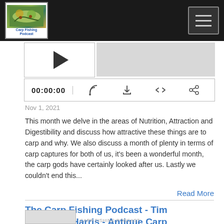Carp Fishing Podcast - header with logo and menu
[Figure (screenshot): Podcast audio player with play button thumbnail, grey progress bar area, time display showing 00:00:00, and control icons for RSS, download, embed, and share]
Nov 1, 2021
This month we delve in the areas of Nutrition, Attraction and Digestibility and discuss how attractive these things are to carp and why. We also discuss a month of plenty in terms of carp captures for both of us, it's been a wonderful month, the carp gods have certainly looked after us. Lastly we couldn't end this...
Read More
The Carp Fishing Podcast - Tim "Panther" Harris - Antique Carp
CARP FISHING PODCAST